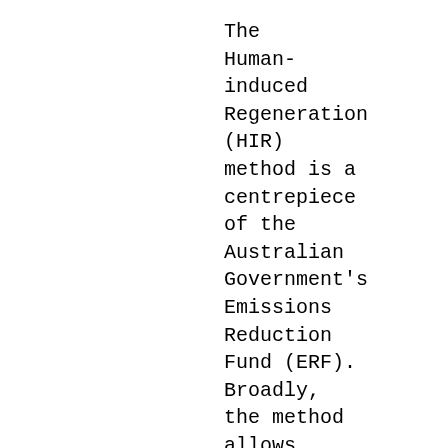The Human-induced Regeneration (HIR) method is a centrepiece of the Australian Government's Emissions Reduction Fund (ERF). Broadly, the method allows landholders to earn carbon credits, known as Australi...